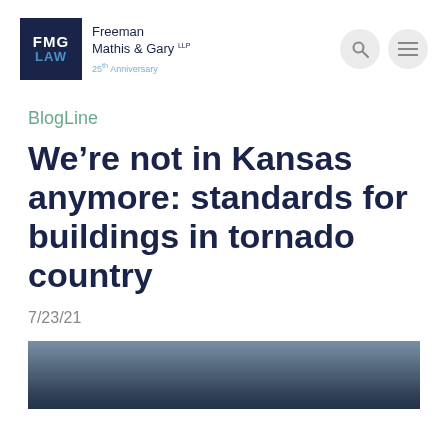FMG LAW | Freeman Mathis & Gary LLP | 25th Anniversary
BlogLine
We’re not in Kansas anymore: standards for buildings in tornado country
7/23/21
[Figure (photo): Storm cloud / tornado sky photograph, dark and moody]